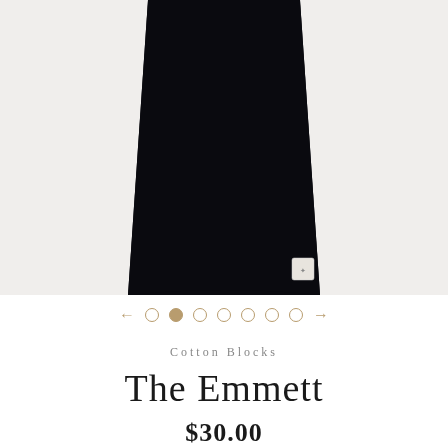[Figure (photo): Product photo of a black sleeveless tank/shirt on a light gray background, showing the bottom half of the garment with a small brand tag visible at the lower right hem.]
[Figure (other): Carousel navigation with left arrow, 7 dots (second dot filled/active), and right arrow, all in gold/tan color.]
Cotton Blocks
The Emmett
$30.00